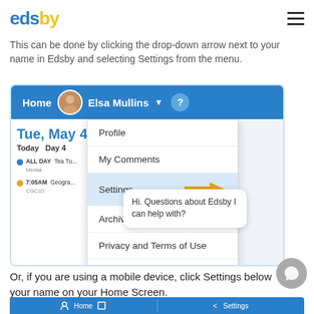edsby
This can be done by clicking the drop-down arrow next to your name in Edsby and selecting Settings from the menu.
[Figure (screenshot): Screenshot of the Edsby web interface showing the navigation bar with 'Home', avatar, 'Elsa Mullins' dropdown, and a help icon. A dropdown menu is open showing: Profile, My Comments, Settings (highlighted in blue with an orange arrow pointing to it), Archives..., Privacy and Terms of Use, Logout. A chat bubble says 'Hi. Questions about Edsby I can help with?'. The main area shows 'Tue, May 4', 'Today  Day 4', with events: blue dot ALL DAY Tea Tu... Mental..., orange dot 7:05AM Geogra... CGC1D.]
Or, if you are using a mobile device, click Settings below your name on your Home Screen.
[Figure (screenshot): Bottom strip of a mobile app screenshot showing Home and Settings navigation tabs in blue.]